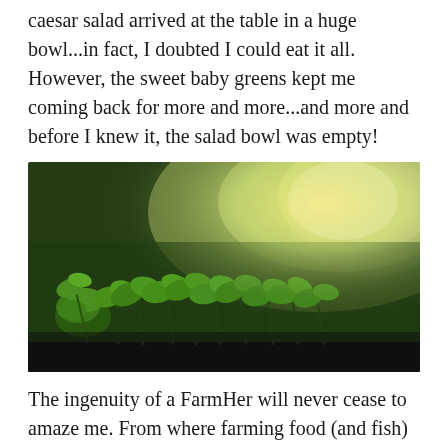caesar salad arrived at the table in a huge bowl...in fact, I doubted I could eat it all. However, the sweet baby greens kept me coming back for more and more...and more and before I knew it, the salad bowl was empty!
[Figure (photo): Close-up photograph of young green seedlings / baby greens growing in a dark tray, with bright warm sunlight (yellow-green glow) in the background, shallow depth of field, indoor growing environment.]
The ingenuity of a FarmHer will never cease to amaze me. From where farming food (and fish) to creating...